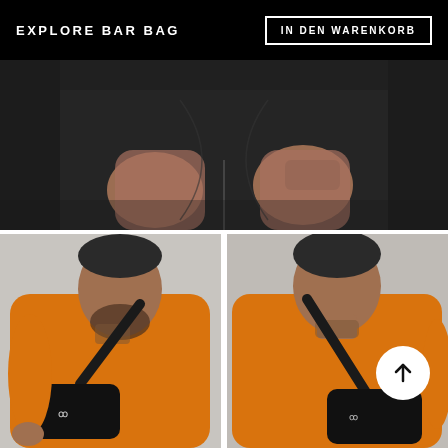EXPLORE BAR BAG
IN DEN WARENKORB
[Figure (photo): Close-up of a man's torso in black cycling shorts/tights, hands visible at sides, showing the bar bag attached to the front]
[Figure (photo): Man wearing orange long-sleeve shirt and black cross-body bar bag worn over the front, side profile view]
[Figure (photo): Man wearing orange long-sleeve shirt and black cross-body bar bag worn on the back, rear view, with a circular white arrow-up button overlay]